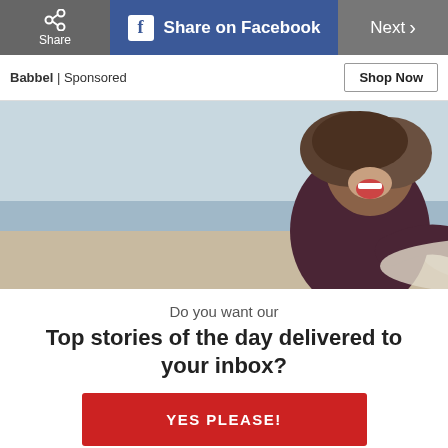Share | Share on Facebook | Next >
Babbel | Sponsored
[Figure (photo): A smiling young woman with curly hair at the beach, wearing a dark wetsuit, laughing and holding a surfboard]
Do you want our
Top stories of the day delivered to your inbox?
YES PLEASE!
NO THANKS